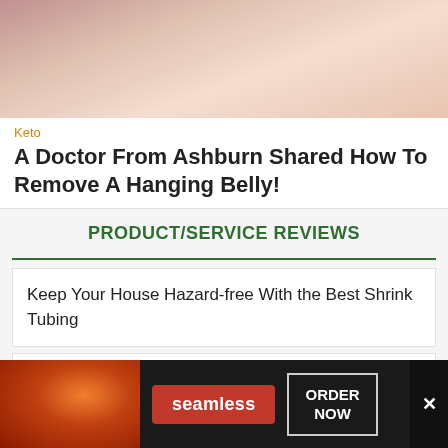[Figure (photo): Close-up photo of a person's midsection/belly area with crossed arms, skin visible]
Keto
A Doctor From Ashburn Shared How To Remove A Hanging Belly!
PRODUCT/SERVICE REVIEWS
Keep Your House Hazard-free With the Best Shrink Tubing
Free Your Hands With the Best Drill Holsters
[Figure (photo): Seamless food delivery advertisement banner showing pizza, Seamless logo button in red, ORDER NOW button in outlined box, and X close button]